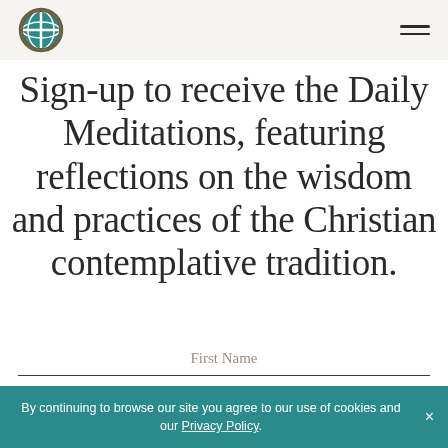[Figure (logo): Circular logo with cross and globe/earth design in olive/teal colors]
Sign-up to receive the Daily Meditations, featuring reflections on the wisdom and practices of the Christian contemplative tradition.
First Name
By continuing to browse our site you agree to our use of cookies and our Privacy Policy.